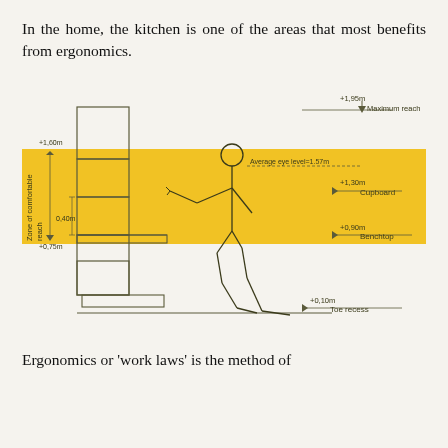In the home, the kitchen is one of the areas that most benefits from ergonomics.
[Figure (engineering-diagram): Ergonomic kitchen diagram showing a stick figure person standing at a kitchen counter/cabinet unit. Annotated horizontal lines indicate measurement heights: Maximum reach +1.95m, Average eye level 1.57m, Cupboard +1.30m, Benchtop +0.90m, Toe recess +0.10m. A yellow horizontal band highlights the Zone of comfortable reach between +0.75m and +1.60m. The cabinet unit is shown on the left with upper and lower sections, benchtop, and toe recess.]
Ergonomics or ‘work laws’ is the method of